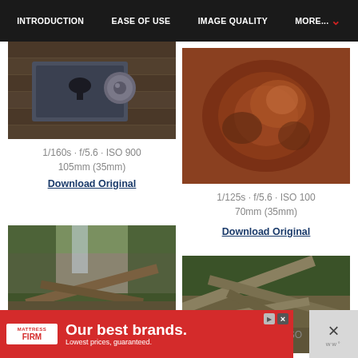INTRODUCTION | EASE OF USE | IMAGE QUALITY | MORE...
[Figure (photo): Close-up photo of a metal door lock and bolt, old weathered wood]
1/160s · f/5.6 · ISO 900
105mm (35mm)
Download Original
[Figure (photo): Close-up photo of a rusty brown metallic surface with wear marks]
1/125s · f/5.6 · ISO 100
70mm (35mm)
Download Original
[Figure (photo): Outdoor photo showing green ivy and fallen wooden debris near a stone wall with waterfall]
1/30s · f/8 · ISO 360
[Figure (photo): Outdoor photo showing broken wooden planks and debris on ground with ivy]
1/160s · f/8 · ISO
[Figure (other): Advertisement banner: MATTRESS FIRM - Our best brands. Lowest prices, guaranteed.]